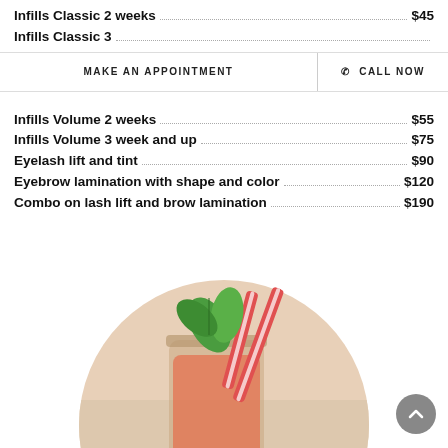Infills Classic 2 weeks ... $45
Infills Classic 3 [weeks]
Full Set Volum[e]
special now $150 regular $250
Infills Volume 2 weeks ... $55
Infills Volume 3 week and up ... $75
Eyelash lift and tint ... $90
Eyebrow lamination with shape and color ... $120
Combo on lash lift and brow lamination ... $190
[Figure (photo): Photo of a mason jar drink with red and white striped straws and fresh mint leaves, shown in a circular crop]